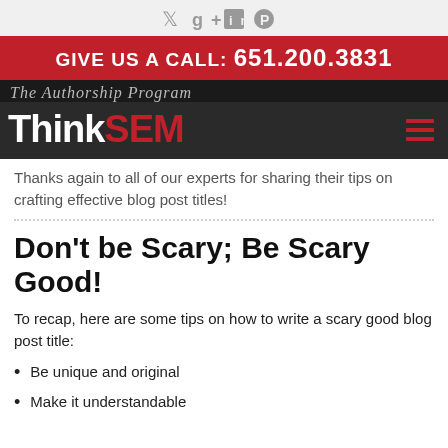[Figure (other): Social media icons: Twitter, Google+, LinkedIn, Pinterest]
GIVE US A CALL: 651.200.3831
The Authorship Program
[Figure (logo): ThinkSEM logo with hamburger menu icon]
Thanks again to all of our experts for sharing their tips on crafting effective blog post titles!
Don't be Scary; Be Scary Good!
To recap, here are some tips on how to write a scary good blog post title:
Be unique and original
Make it understandable